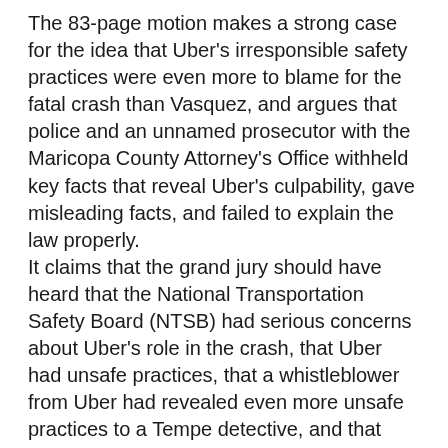The 83-page motion makes a strong case for the idea that Uber's irresponsible safety practices were even more to blame for the fatal crash than Vasquez, and argues that police and an unnamed prosecutor with the Maricopa County Attorney's Office withheld key facts that reveal Uber's culpability, gave misleading facts, and failed to explain the law properly.
It claims that the grand jury should have heard that the National Transportation Safety Board (NTSB) had serious concerns about Uber's role in the crash, that Uber had unsafe practices, that a whistleblower from Uber had revealed even more unsafe practices to a Tempe detective, and that Vasquez wasn't looking at her phone just before the crash, as investigators had claimed.
The county attorney's office has yet to file a response to the motion and declined comment for this article. Uber failed to answer messages about the motion this week. Kratter and Morrison declined comment on their motion, and Phoenix New Times was unable to reach Vasquez.